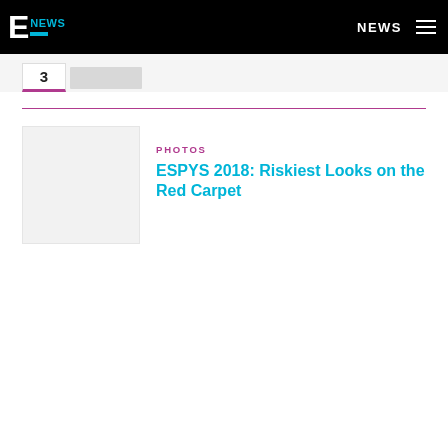E NEWS | NEWS
3
PHOTOS
ESPYS 2018: Riskiest Looks on the Red Carpet